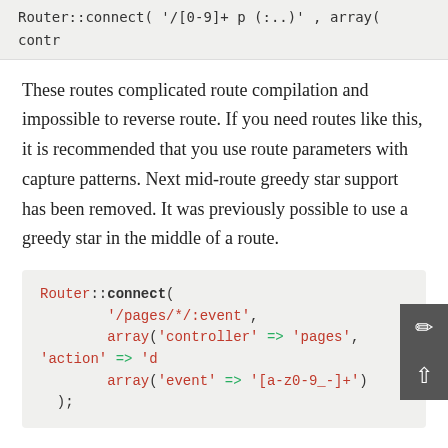[Figure (screenshot): Code block at top showing partial line: Router::connect( '/[0-9]+ p (:..)' , array( contr]
These routes complicated route compilation and impossible to reverse route. If you need routes like this, it is recommended that you use route parameters with capture patterns. Next mid-route greedy star support has been removed. It was previously possible to use a greedy star in the middle of a route.
[Figure (screenshot): Code block showing: Router::connect(
    '/pages/*/:event',
    array('controller' => 'pages', 'action' => 'd
    array('event' => '[a-z0-9_-]+')
);]
This is no longer supported as mid-route greedy stars behaved erratically, and complicated route compiling. Outside of these two edge-case features and the above changes the router behaves exactly as it did in 1.2